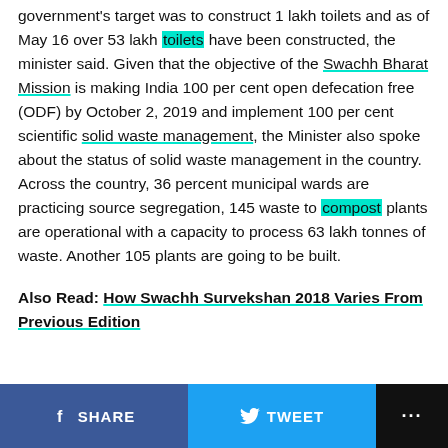government's target was to construct 1 lakh toilets and as of May 16 over 53 lakh toilets have been constructed, the minister said. Given that the objective of the Swachh Bharat Mission is making India 100 per cent open defecation free (ODF) by October 2, 2019 and implement 100 per cent scientific solid waste management, the Minister also spoke about the status of solid waste management in the country. Across the country, 36 percent municipal wards are practicing source segregation, 145 waste to compost plants are operational with a capacity to process 63 lakh tonnes of waste. Another 105 plants are going to be built.
Also Read: How Swachh Survekshan 2018 Varies From Previous Edition
SHARE  TWEET  ...